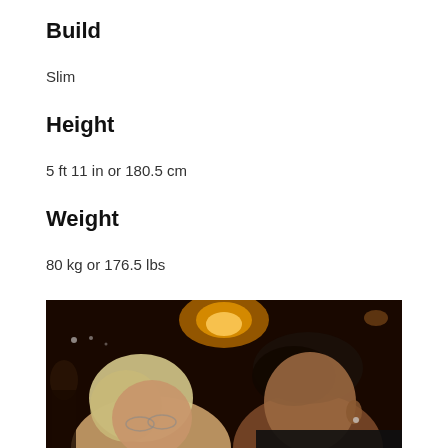Build
Slim
Height
5 ft 11 in or 180.5 cm
Weight
80 kg or 176.5 lbs
[Figure (photo): Two people posing for a selfie in a dimly lit venue with a chandelier in the background. An older woman with light hair on the left and a young man with dark hair on the right.]